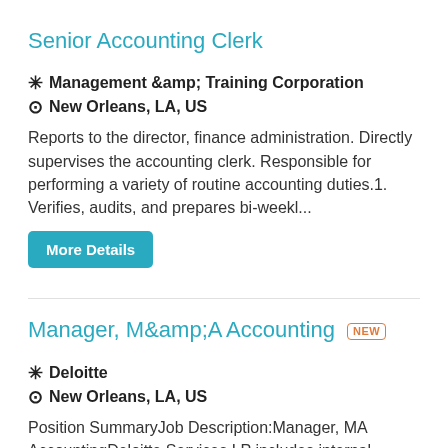Senior Accounting Clerk
❋ Management &amp; Training Corporation
⊙ New Orleans, LA, US
Reports to the director, finance administration. Directly supervises the accounting clerk. Responsible for performing a variety of routine accounting duties.1. Verifies, audits, and prepares bi-weekl...
More Details
Manager, M&amp;A Accounting NEW
❋ Deloitte
⊙ New Orleans, LA, US
Position SummaryJob Description:Manager, MA AccountingDeloitte Services LP includes internal support areas such as Sales Excellence, Marketing and Communications, Human Resources/Talent, Information